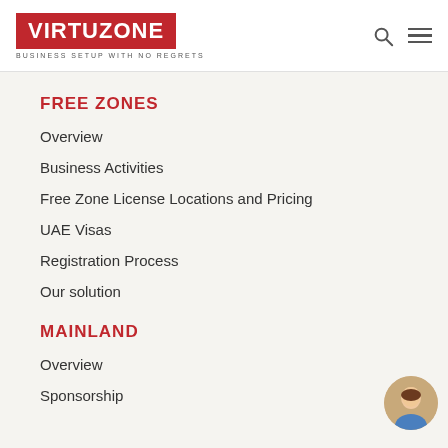VIRTUZONE — BUSINESS SETUP WITH NO REGRETS
FREE ZONES
Overview
Business Activities
Free Zone License Locations and Pricing
UAE Visas
Registration Process
Our solution
MAINLAND
Overview
Sponsorship
[Figure (photo): Circular avatar of a person in a blue shirt]